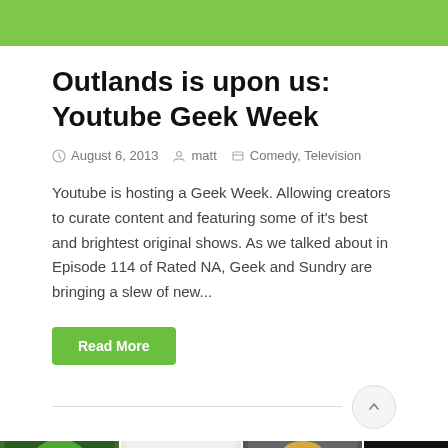[Figure (other): Green navigation bar at the top of the webpage]
Outlands is upon us: Youtube Geek Week
August 6, 2013   matt   Comedy, Television
Youtube is hosting a Geek Week. Allowing creators to curate content and featuring some of it's best and brightest original shows. As we talked about in Episode 114 of Rated NA, Geek and Sundry are bringing a slew of new...
Read More
[Figure (photo): Row of thumbnail images at the bottom including a cosplay person with green hair, San Diego Comic Con logo, crowd photo, and Rated NA logo]